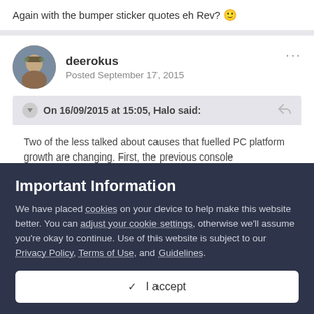Again with the bumper sticker quotes eh Rev? 🙂
deerokus
Posted September 17, 2015
On 16/09/2015 at 15:05, Halo said:
Two of the less talked about causes that fuelled PC platform growth are changing. First, the previous console...
Important Information
We have placed cookies on your device to help make this website better. You can adjust your cookie settings, otherwise we'll assume you're okay to continue. Use of this website is subject to our Privacy Policy, Terms of Use, and Guidelines.
✓  I accept